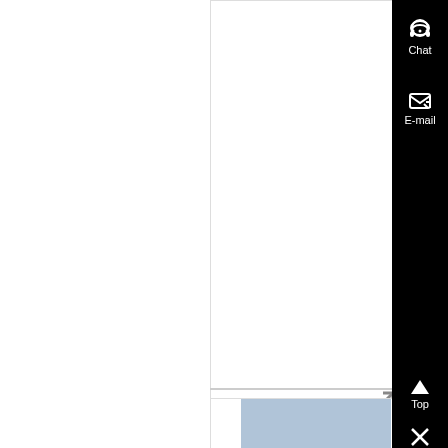As the US Navy continues to build its new CVN-21 Gerald R Ford Class carriers, few technologies are as important to their success as the next-generation EMALS ....
Know More
The 15